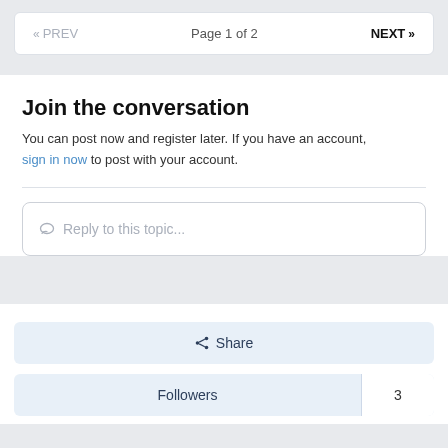« PREV   Page 1 of 2   NEXT »
Join the conversation
You can post now and register later. If you have an account, sign in now to post with your account.
Reply to this topic...
Share
Followers   3